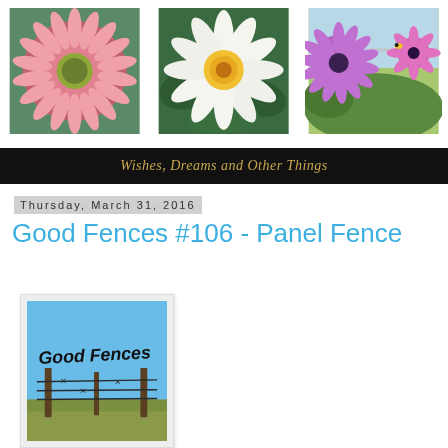[Figure (photo): Three flower photos side by side: pink spiky gerbera daisy on left, white and yellow flower in center, purple daisy with fence on right]
Wishes, Dreams and Other Things
Thursday, March 31, 2016
Good Fences #106 - Panel Fence
[Figure (photo): Good Fences blog badge: blue sky with barbed wire fence and text 'Good Fences']